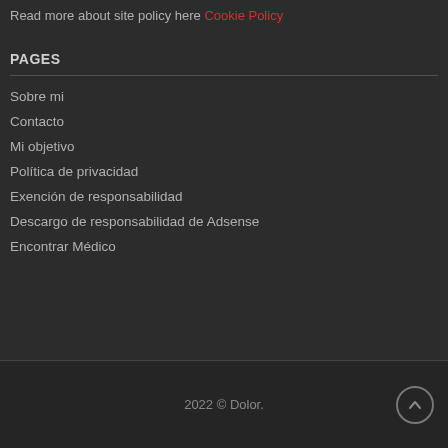Read more about site policy here Cookie Policy
PAGES
Sobre mi
Contacto
Mi objetivo
Política de privacidad
Exención de responsabilidad
Descargo de responsabilidad de Adsense
Encontrar Médico
2022 © Dolor.